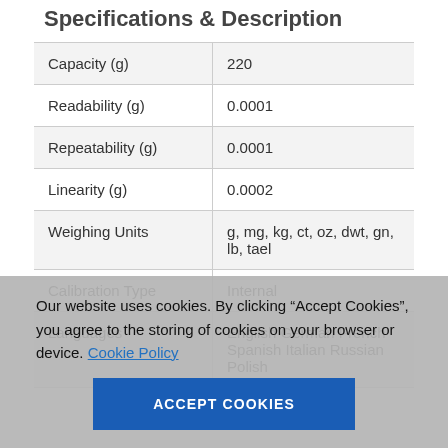Specifications & Description
| Capacity (g) | 220 |
| Readability (g) | 0.0001 |
| Repeatability (g) | 0.0001 |
| Linearity (g) | 0.0002 |
| Weighing Units | g, mg, kg, ct, oz, dwt, gn, lb, tael |
| Calibration Type | Internal |
| Languages | English German French Spanish Italian Russian Polish |
Our website uses cookies. By clicking “Accept Cookies”, you agree to the storing of cookies on your browser or device. Cookie Policy
ACCEPT COOKIES